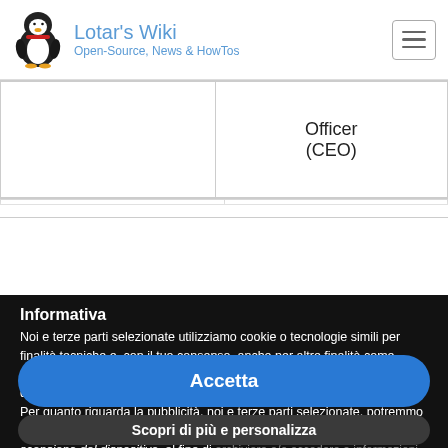Lotar's Wiki — Open-Source, News & HowTos
|  | Officer
(CEO) |  |  |  |
Informativa
Noi e terze parti selezionate utilizziamo cookie o tecnologie simili per finalità tecniche e, con il tuo consenso, anche per altre finalità come specificato nella cookie policy. Il rifiuto del consenso può rendere non disponibili le relative funzioni.
Per quanto riguarda la pubblicità, noi e terze parti selezionate, potremmo utilizzare dati di geolocalizzazione precisi e l'identificazione attraverso la scansione del dispositivo, al fine di archiviare e/o accedere a informazioni su un dispositivo e trattare
Accetta
Scopri di più e personalizza